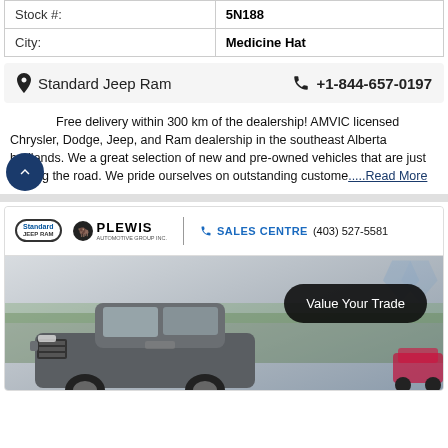| Stock #: | 5N188 |
| City: | Medicine Hat |
Standard Jeep Ram   +1-844-657-0197
Free delivery within 300 km of the dealership! AMVIC licensed Chrysler, Dodge, Jeep, and Ram dealership in the southeast Alberta badlands. We a great selection of new and pre-owned vehicles that are just waiting the road. We pride ourselves on outstanding custome.....Read More
[Figure (photo): Dealer listing image showing Standard Jeep Ram and Plewis Automotive Group branding header with phone number (403) 527-5581 and Sales Centre label, plus a gray Ram pickup truck in a dealership lot with a 'Value Your Trade' button overlay and diamond logo watermark]